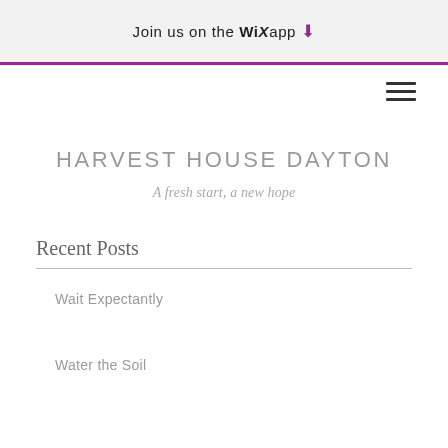Join us on the WiX app
HARVEST HOUSE DAYTON
A fresh start, a new hope
Recent Posts
Wait Expectantly
Water the Soil